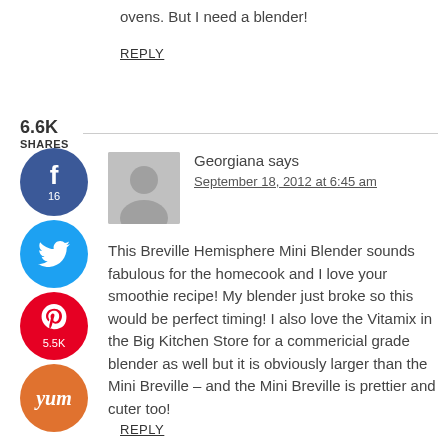ovens. But I need a blender!
REPLY
6.6K SHARES
Georgiana says
September 18, 2012 at 6:45 am
This Breville Hemisphere Mini Blender sounds fabulous for the homecook and I love your smoothie recipe! My blender just broke so this would be perfect timing! I also love the Vitamix in the Big Kitchen Store for a commericial grade blender as well but it is obviously larger than the Mini Breville – and the Mini Breville is prettier and cuter too!
REPLY